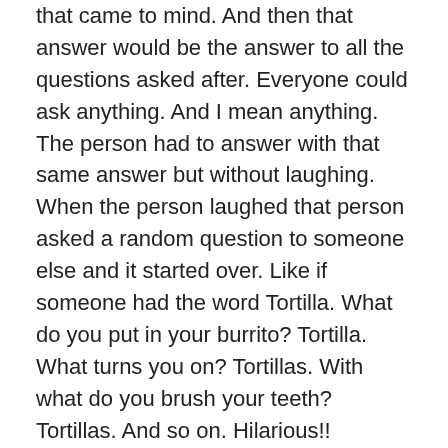that came to mind. And then that answer would be the answer to all the questions asked after. Everyone could ask anything. And I mean anything. The person had to answer with that same answer but without laughing. When the person laughed that person asked a random question to someone else and it started over. Like if someone had the word Tortilla. What do you put in your burrito? Tortilla. What turns you on? Tortillas. With what do you brush your teeth? Tortillas. And so on. Hilarious!! Another very funny game we played was rapid questions. We sat in a circle and one person started by asking the next person a random question, it could be exactly anything. Then the next person is supposed to ask another question to the next person, without answering, laughing, hesitating or repeating a question. If you do, you're out and the game goes on until there is only one left. Also very funny and a lot of laughs!